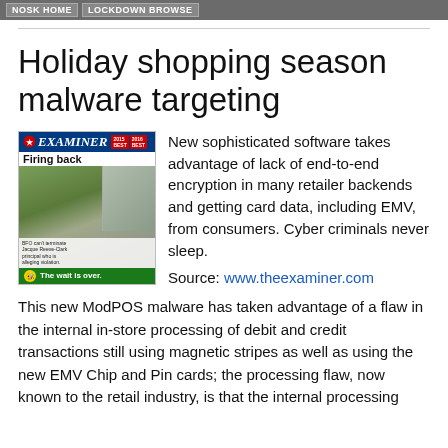NOSK HOME  LOCKDOWN BROWSE
Holiday shopping season malware targeting
[Figure (photo): Newspaper front page of 'The Examiner' with headline 'Firing back' and footer text 'The wait is over.']
New sophisticated software takes advantage of lack of end-to-end encryption in many retailer backends and getting card data, including EMV, from consumers. Cyber criminals never sleep.
Source: www.theexaminer.com
This new ModPOS malware has taken advantage of a flaw in the internal in-store processing of debit and credit transactions still using magnetic stripes as well as using the new EMV Chip and Pin cards; the processing flaw, now known to the retail industry, is that the internal processing